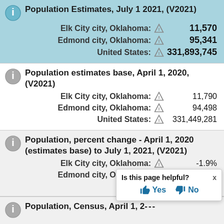Population Estimates, July 1 2021, (V2021)
Elk City city, Oklahoma: 11,570
Edmond city, Oklahoma: 95,341
United States: 331,893,745
Population estimates base, April 1, 2020, (V2021)
Elk City city, Oklahoma: 11,790
Edmond city, Oklahoma: 94,498
United States: 331,449,281
Population, percent change - April 1, 2020 (estimates base) to July 1, 2021, (V2021)
Elk City city, Oklahoma: -1.9%
Edmond city, Oklahoma: 0.9%
Uni...
Population, Census, April 1, 2...